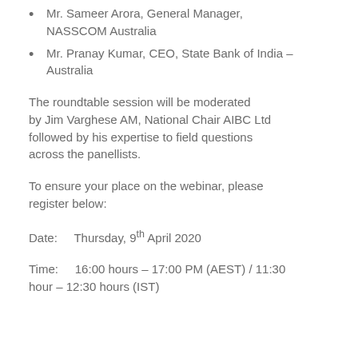Mr. Sameer Arora, General Manager, NASSCOM Australia
Mr. Pranay Kumar, CEO, State Bank of India – Australia
The roundtable session will be moderated by Jim Varghese AM, National Chair AIBC Ltd followed by his expertise to field questions across the panellists.
To ensure your place on the webinar, please register below:
Date:    Thursday, 9th April 2020
Time:    16:00 hours – 17:00 PM (AEST) / 11:30 hour – 12:30 hours (IST)